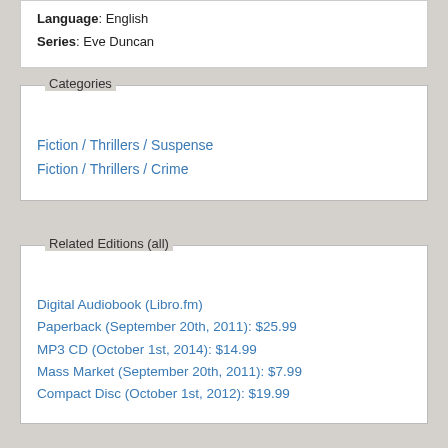Language: English
Series: Eve Duncan
Categories
Fiction / Thrillers / Suspense
Fiction / Thrillers / Crime
Related Editions (all)
Digital Audiobook (Libro.fm)
Paperback (September 20th, 2011): $25.99
MP3 CD (October 1st, 2014): $14.99
Mass Market (September 20th, 2011): $7.99
Compact Disc (October 1st, 2012): $19.99